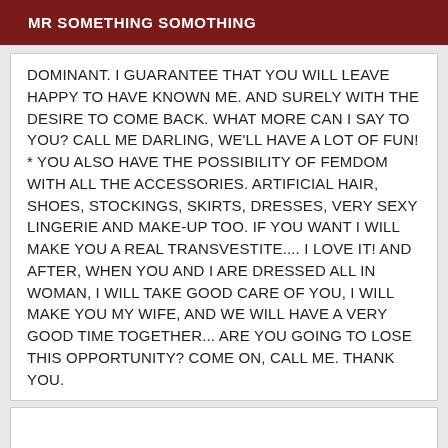MR SOMETHING SOMOTHING
DOMINANT. I GUARANTEE THAT YOU WILL LEAVE HAPPY TO HAVE KNOWN ME. AND SURELY WITH THE DESIRE TO COME BACK. WHAT MORE CAN I SAY TO YOU? CALL ME DARLING, WE'LL HAVE A LOT OF FUN! * YOU ALSO HAVE THE POSSIBILITY OF FEMDOM WITH ALL THE ACCESSORIES. ARTIFICIAL HAIR, SHOES, STOCKINGS, SKIRTS, DRESSES, VERY SEXY LINGERIE AND MAKE-UP TOO. IF YOU WANT I WILL MAKE YOU A REAL TRANSVESTITE.... I LOVE IT! AND AFTER, WHEN YOU AND I ARE DRESSED ALL IN WOMAN, I WILL TAKE GOOD CARE OF YOU, I WILL MAKE YOU MY WIFE, AND WE WILL HAVE A VERY GOOD TIME TOGETHER... ARE YOU GOING TO LOSE THIS OPPORTUNITY? COME ON, CALL ME. THANK YOU.